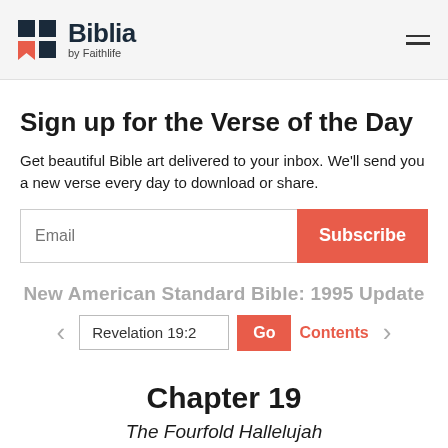Biblia by Faithlife
Sign up for the Verse of the Day
Get beautiful Bible art delivered to your inbox. We'll send you a new verse every day to download or share.
Email [input field] Subscribe [button]
New American Standard Bible: 1995 Update
< Revelation 19:2 [input] Go Contents >
Chapter 19
The Fourfold Hallelujah